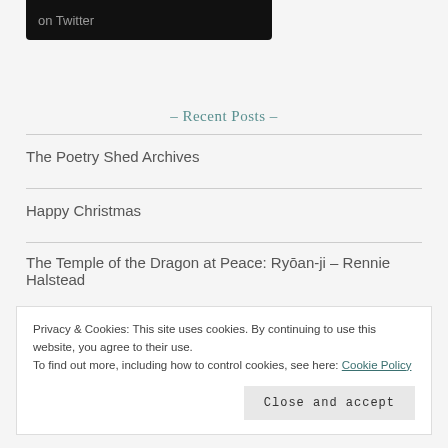[Figure (screenshot): Dark/black rounded box showing 'on Twitter' text in gray]
- Recent Posts -
The Poetry Shed Archives
Happy Christmas
The Temple of the Dragon at Peace: Ryōan-ji – Rennie Halstead
Privacy & Cookies: This site uses cookies. By continuing to use this website, you agree to their use. To find out more, including how to control cookies, see here: Cookie Policy
Close and accept